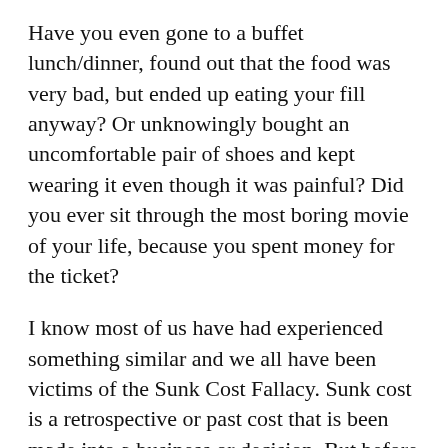Have you even gone to a buffet lunch/dinner, found out that the food was very bad, but ended up eating your fill anyway? Or unknowingly bought an uncomfortable pair of shoes and kept wearing it even though it was painful? Did you ever sit through the most boring movie of your life, because you spent money for the ticket?
I know most of us have had experienced something similar and we all have been victims of the Sunk Cost Fallacy. Sunk cost is a retrospective or past cost that is been made into a business or decision. But before we try to understand sunk cost fallacy lets see...